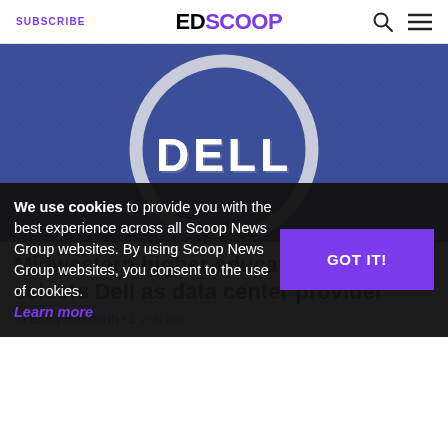SUBSCRIBE | EDSCOOP
[Figure (photo): Dell logo — white 3D letters spelling DELL on a circular ring against a dark blue chevron-patterned background]
Midwestern higher education group selects Dell as data center provider
by Emily Bamforth • 1 year ago
We use cookies to provide you with the best experience across all Scoop News Group websites. By using Scoop News Group websites, you consent to the use of cookies. Learn more